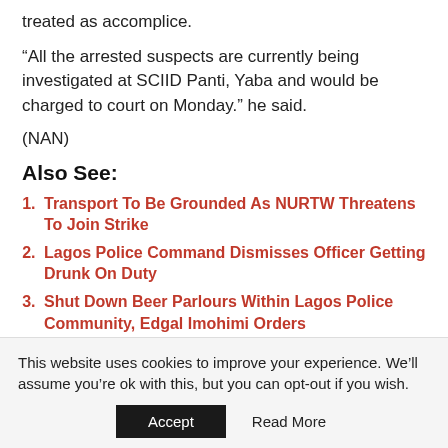treated as accomplice.
“All the arrested suspects are currently being investigated at SCIID Panti, Yaba and would be charged to court on Monday.” he said.
(NAN)
Also See:
Transport To Be Grounded As NURTW Threatens To Join Strike
Lagos Police Command Dismisses Officer Getting Drunk On Duty
Shut Down Beer Parlours Within Lagos Police Community, Edgal Imohimi Orders
Population Explosion Is A Serious Challenge –
This website uses cookies to improve your experience. We’ll assume you’re ok with this, but you can opt-out if you wish.